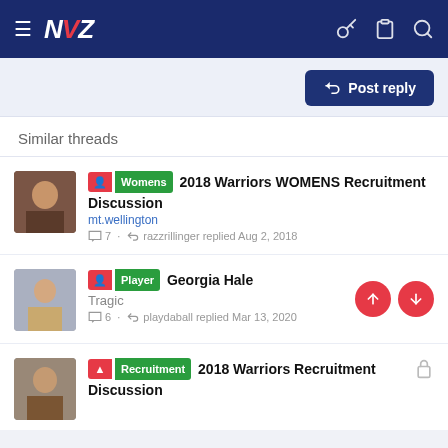NVZ - Warriors forum navigation bar
Post reply
Similar threads
Womens 2018 Warriors WOMENS Recruitment Discussion | mt.wellington | 7 replies | razzrillinger replied Aug 2, 2018
Player Georgia Hale | Tragic | 6 replies | playdaball replied Mar 13, 2020
Recruitment 2018 Warriors Recruitment Discussion